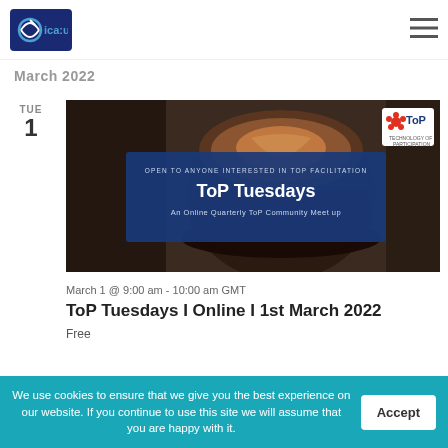ica:uk logo and navigation menu
March 2022
TUE 1
[Figure (photo): Event banner image for ToP Tuesdays. Dark background with coffee cup. Blue rectangle overlay with text: OPEN TO ANYONE INTERESTED IN TOP FACILITATION, ToP Tuesdays, An Online Quarterly ToP Community Meet up. ToP logo in top right corner.]
March 1 @ 9:00 am - 10:00 am GMT
ToP Tuesdays I Online I 1st March 2022
Free
We use cookies to ensure that we give you the best experience on our website. If you continue to use this site we will assume that you are happy with it.